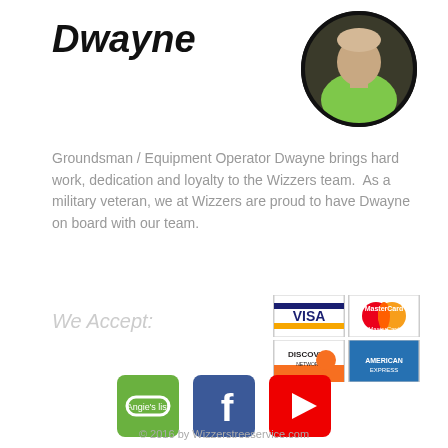Dwayne
[Figure (photo): Circular headshot photo of Dwayne wearing a green shirt]
Groundsman / Equipment Operator Dwayne brings hard work, dedication and loyalty to the Wizzers team.  As a military veteran, we at Wizzers are proud to have Dwayne on board with our team.
We Accept:
[Figure (illustration): Four credit card logos in a 2x2 grid: VISA, MasterCard, Discover Network, American Express]
[Figure (logo): Three social media icons: Angie's List (green), Facebook (blue), YouTube (red)]
© 2016 by Wizzerstreeservice.com